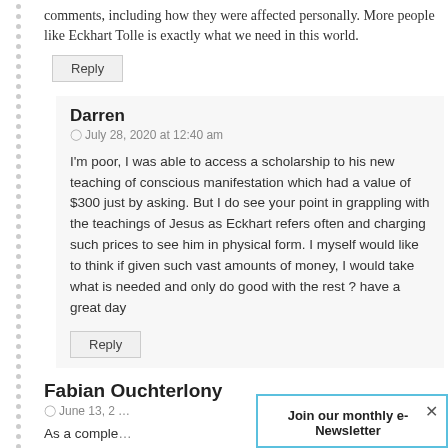comments, including how they were affected personally. More people like Eckhart Tolle is exactly what we need in this world.
Reply
Darren
July 28, 2020 at 12:40 am
I'm poor, I was able to access a scholarship to his new teaching of conscious manifestation which had a value of $300 just by asking. But I do see your point in grappling with the teachings of Jesus as Eckhart refers often and charging such prices to see him in physical form. I myself would like to think if given such vast amounts of money, I would take what is needed and only do good with the rest ? have a great day
Reply
Fabian Ouchterlony
June 13, 2…
As a comple…
Join our monthly e-Newsletter